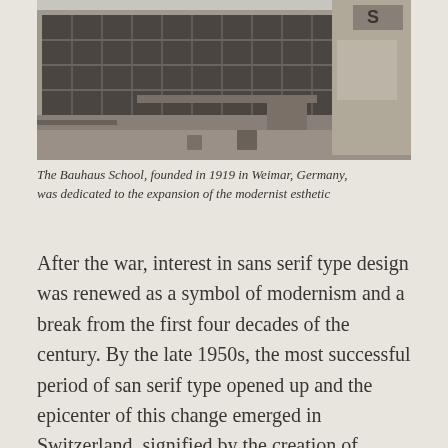[Figure (photo): Black and white photograph of the Bauhaus School building, showing modernist architecture with large glass windows and clean geometric lines.]
The Bauhaus School, founded in 1919 in Weimar, Germany, was dedicated to the expansion of the modernist esthetic
After the war, interest in sans serif type design was renewed as a symbol of modernism and a break from the first four decades of the century. By the late 1950s, the most successful period of san serif type opened up and the epicenter of this change emerged in Switzerland, signified by the creation of Helvetica (1957) by Eduard Hoffmann and Max Miedinger of the Haas Type Foundry in Münchenstein.